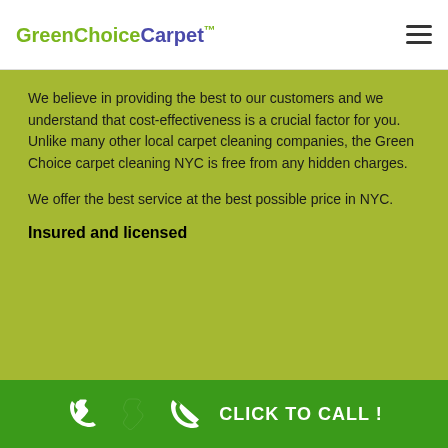GreenChoiceCarpet™
We believe in providing the best to our customers and we understand that cost-effectiveness is a crucial factor for you. Unlike many other local carpet cleaning companies, the Green Choice carpet cleaning NYC is free from any hidden charges.
We offer the best service at the best possible price in NYC.
Insured and licensed
CLICK TO CALL !